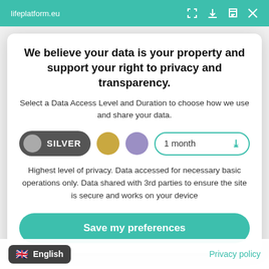lifeplatform.eu
We believe your data is your property and support your right to privacy and transparency.
Select a Data Access Level and Duration to choose how we use and share your data.
[Figure (infographic): Privacy level selector showing three options: SILVER (selected, dark gray pill button with gray circle), a gold circle, and a purple circle; plus a duration selector showing '1 month' with a teal dropdown arrow]
Highest level of privacy. Data accessed for necessary basic operations only. Data shared with 3rd parties to ensure the site is secure and works on your device
Save my preferences
English
Privacy policy